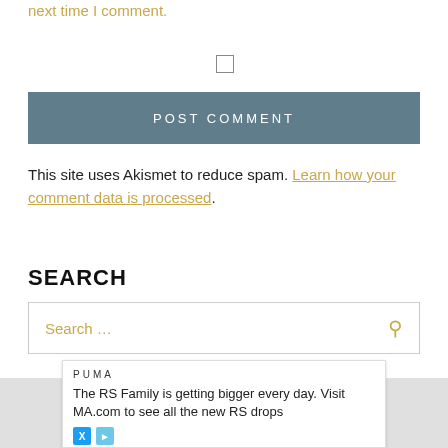Save my name, email, and website in this browser for the next time I comment.
POST COMMENT
This site uses Akismet to reduce spam. Learn how your comment data is processed.
SEARCH
Search …
COPYRIGHT POLICY
PUMA
The RS Family is getting bigger every day. Visit MA.com to see all the new RS drops